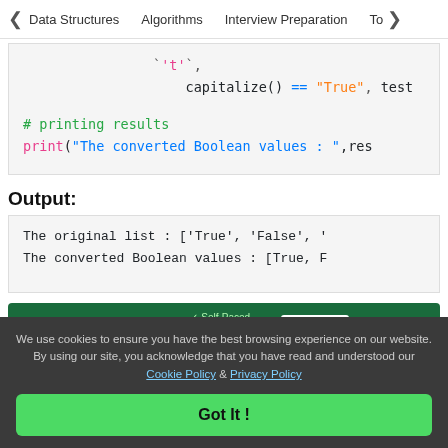Data Structures   Algorithms   Interview Preparation   Top
[Figure (screenshot): Python code snippet showing capitalize() == "True" string comparison, a comment '# printing results', and a print statement: print("The converted Boolean values : ",res)]
Output:
[Figure (screenshot): Output block showing: The original list : ['True', 'False', '... and The converted Boolean values : [True, F...]
[Figure (infographic): PYTHON PROGRAMMING ad banner with Self-Paced, Lifetime Access checkmarks, Enrol Now button, and GeeksforGeeks logo]
We use cookies to ensure you have the best browsing experience on our website. By using our site, you acknowledge that you have read and understood our Cookie Policy & Privacy Policy
Got It !